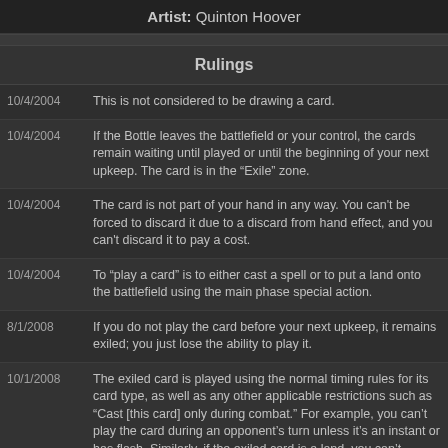Artist: Quinton Hoover
Rulings
| Date | Ruling |
| --- | --- |
| 10/4/2004 | This is not considered to be drawing a card. |
| 10/4/2004 | If the Bottle leaves the battlefield or your control, the cards remain waiting until played or until the beginning of your next upkeep. The card is in the “Exile” zone. |
| 10/4/2004 | The card is not part of your hand in any way. You can't be forced to discard it due to a discard from hand effect, and you can't discard it to pay a cost. |
| 10/4/2004 | To “play a card” is to either cast a spell or to put a land onto the battlefield using the main phase special action. |
| 8/1/2008 | If you do not play the card before your next upkeep, it remains exiled; you just lose the ability to play it. |
| 10/1/2008 | The exiled card is played using the normal timing rules for its card type, as well as any other applicable restrictions such as “Cast [this card] only during combat.” For example, you can’t play the card during an opponent’s turn unless it’s an instant or has flash. Similarly, if the exiled card is a land, you can’t |